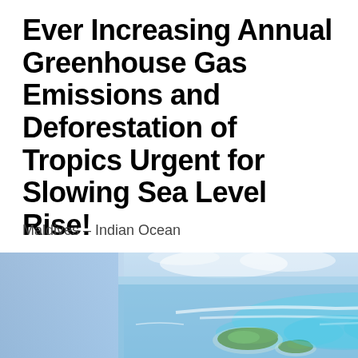Ever Increasing Annual Greenhouse Gas Emissions and Deforestation of Tropics Urgent for Slowing Sea Level Rise!
Maldives – Indian Ocean
[Figure (photo): Aerial photograph of Maldives atolls in the Indian Ocean, showing small green islands surrounded by shallow turquoise and blue waters with white sandy areas and coral reefs visible from above.]